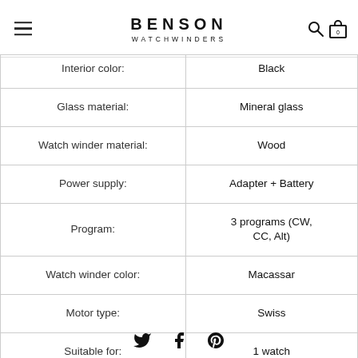BENSON WATCHWINDERS
| Interior color: | Black |
| Glass material: | Mineral glass |
| Watch winder material: | Wood |
| Power supply: | Adapter + Battery |
| Program: | 3 programs (CW, CC, Alt) |
| Watch winder color: | Macassar |
| Motor type: | Swiss |
| Suitable for: | 1 watch |